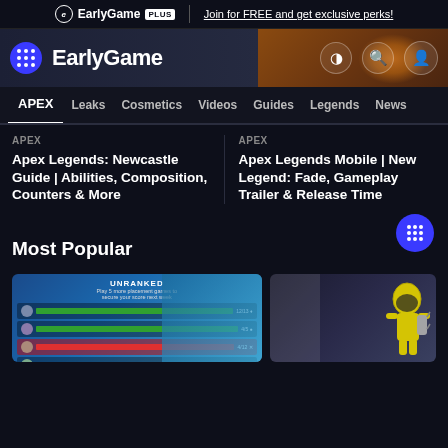EarlyGame PLUS | Join for FREE and get exclusive perks!
[Figure (screenshot): EarlyGame website navigation header with logo, site title, and icons]
APEX  Leaks  Cosmetics  Videos  Guides  Legends  News
APEX
Apex Legends: Newcastle Guide | Abilities, Composition, Counters & More
APEX
Apex Legends Mobile | New Legend: Fade, Gameplay Trailer & Release Time
Most Popular
[Figure (screenshot): Apex Legends Unranked mode screenshot showing player matchmaking screen with score bars]
[Figure (photo): Apex Legends character in yellow suit on wall]